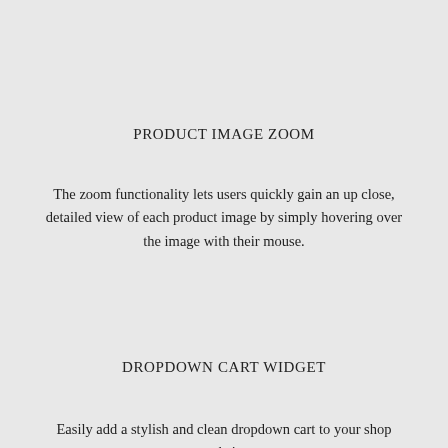PRODUCT IMAGE ZOOM
The zoom functionality lets users quickly gain an up close, detailed view of each product image by simply hovering over the image with their mouse.
DROPDOWN CART WIDGET
Easily add a stylish and clean dropdown cart to your shop website